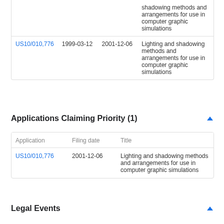| Application | Filing date | Priority date | Title |
| --- | --- | --- | --- |
| US10/010,776 | 1999-03-12 | 2001-12-06 | Lighting and shadowing methods and arrangements for use in computer graphic simulations |
| US10/010,776 | 1999-03-12 | 2001-12-06 | Lighting and shadowing methods and arrangements for use in computer graphic simulations |
Applications Claiming Priority (1)
| Application | Filing date | Title |
| --- | --- | --- |
| US10/010,776 | 2001-12-06 | Lighting and shadowing methods and arrangements for use in computer graphic simulations |
Legal Events